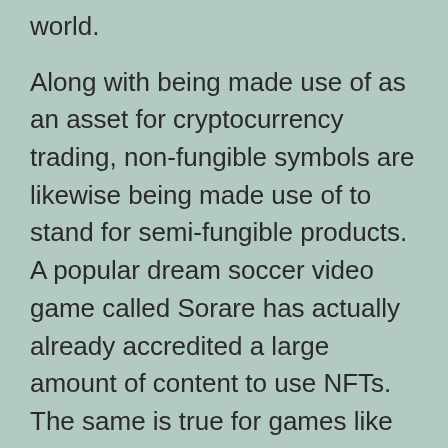world.
Along with being made use of as an asset for cryptocurrency trading, non-fungible symbols are likewise being made use of to stand for semi-fungible products. A popular dream soccer video game called Sorare has actually already accredited a large amount of content to use NFTs. The same is true for games like Minecraft. Axie Infinity has become one of the most traded NFT collection ever before, with trading volumes exceeding $2.5 billion in Q3 2021.